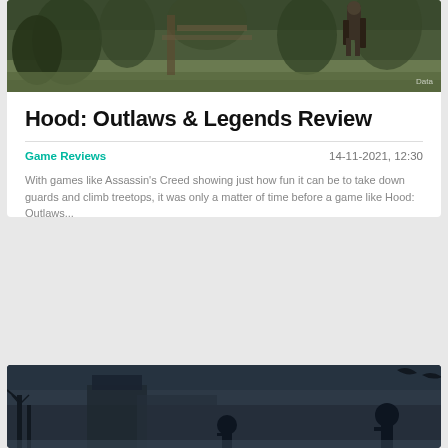[Figure (photo): Game screenshot showing forest/nature scene with character silhouette, top of article card]
Hood: Outlaws & Legends Review
Game Reviews    14-11-2021, 12:30
With games like Assassin's Creed showing just how fun it can be to take down guards and climb treetops, it was only a matter of time before a game like Hood: Outlaws...
0   193   Read more...
[Figure (photo): Game screenshot showing dark winter/snow scene with silhouettes of characters]